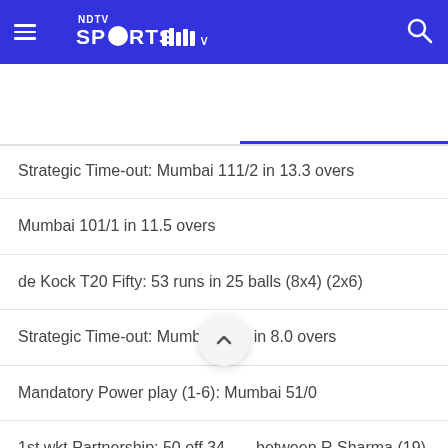NDTV Sports
Strategic Time-out: Mumbai 111/2 in 13.3 overs
Mumbai 101/1 in 11.5 overs
de Kock T20 Fifty: 53 runs in 25 balls (8x4) (2x6)
Strategic Time-out: Mumbai 71/0 in 8.0 overs
Mandatory Power play (1-6): Mumbai 51/0
1st wkt Partnership: 50 off 34 between R Sharma (19) and de Kock (26)
Mumbai 50/0 in 5.4 overs